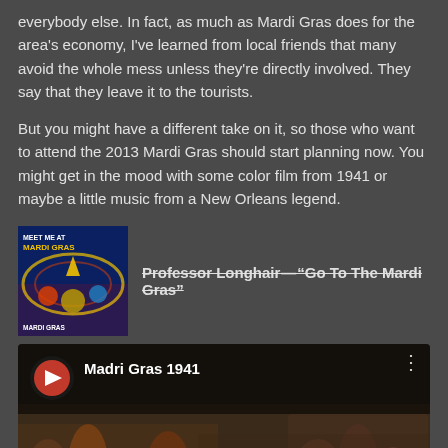everybody else. In fact, as much as Mardi Gras does for the area's economy, I've learned from local friends that many avoid the whole mess unless they're directly involved. They say that they leave it to the tourists.
But you might have a different take on it, so those who want to attend the 2013 Mardi Gras should start planning now. You might get in the mood with some color film from 1941 or maybe a little music from a New Orleans legend.
[Figure (illustration): Album cover for 'Meet Me At Mardi Gras' with colorful festive imagery]
Professor Longhair—"Go To The Mardi Gras"
[Figure (screenshot): YouTube video thumbnail for 'Madri Gras 1941' showing crowd footage with a YouTube play button overlay and YouTube logo icon]